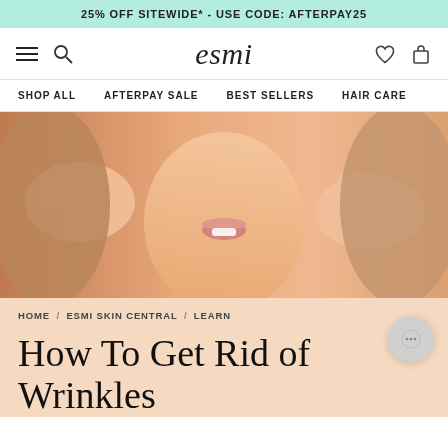25% OFF SITEWIDE* - USE CODE: AFTERPAY25
[Figure (logo): esmi skin care brand logo and navigation bar with hamburger menu, search, wishlist, and bag icons]
SHOP ALL  AFTERPAY SALE  BEST SELLERS  HAIR CARE
[Figure (photo): Close-up photo of a woman with brown/blonde hair touching her face with both hands, mouth slightly open, against a peach/warm background]
HOME / ESMI SKIN CENTRAL / LEARN
How To Get Rid of Wrinkles